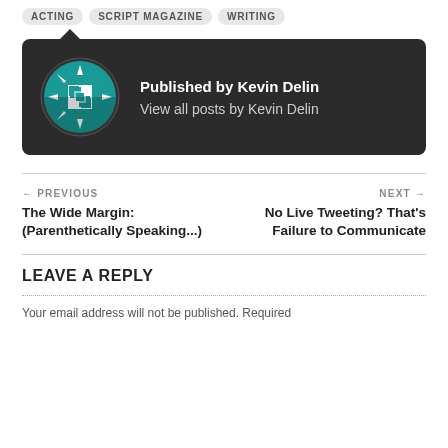ACTING  SCRIPT MAGAZINE  WRITING
[Figure (illustration): Dark card with teal circular logo featuring a geometric snowflake/grid pattern, showing 'Published by Kevin Delin' and 'View all posts by Kevin Delin' in white text on dark background.]
← PREVIOUS
The Wide Margin: (Parenthetically Speaking...)
NEXT →
No Live Tweeting? That's Failure to Communicate
LEAVE A REPLY
Your email address will not be published. Required